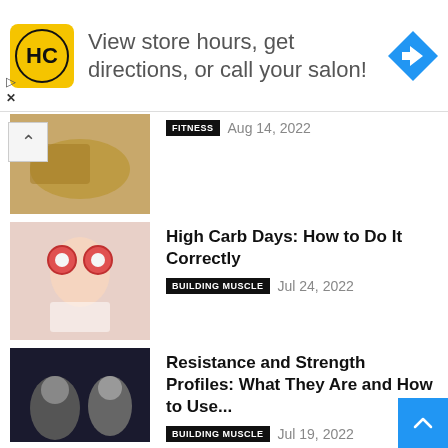[Figure (illustration): Advertisement banner: HC salon logo, text 'View store hours, get directions, or call your salon!', blue navigation arrow icon]
FITNESS   Aug 14, 2022
High Carb Days: How to Do It Correctly
BUILDING MUSCLE   Jul 24, 2022
Resistance and Strength Profiles: What They Are and How to Use...
BUILDING MUSCLE   Jul 19, 2022
Fat Loss: What You Need to Know
FITNESS   Jun 28, 2022